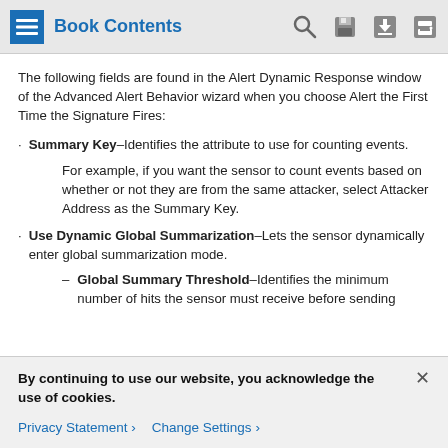Book Contents
The following fields are found in the Alert Dynamic Response window of the Advanced Alert Behavior wizard when you choose Alert the First Time the Signature Fires:
Summary Key–Identifies the attribute to use for counting events.
For example, if you want the sensor to count events based on whether or not they are from the same attacker, select Attacker Address as the Summary Key.
Use Dynamic Global Summarization–Lets the sensor dynamically enter global summarization mode.
Global Summary Threshold–Identifies the minimum number of hits the sensor must receive before sending
By continuing to use our website, you acknowledge the use of cookies.
Privacy Statement › Change Settings ›